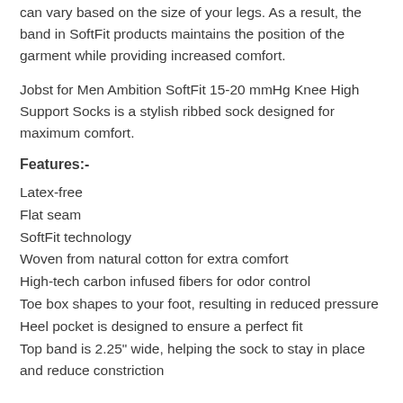can vary based on the size of your legs. As a result, the band in SoftFit products maintains the position of the garment while providing increased comfort.
Jobst for Men Ambition SoftFit 15-20 mmHg Knee High Support Socks is a stylish ribbed sock designed for maximum comfort.
Features:-
Latex-free
Flat seam
SoftFit technology
Woven from natural cotton for extra comfort
High-tech carbon infused fibers for odor control
Toe box shapes to your foot, resulting in reduced pressure
Heel pocket is designed to ensure a perfect fit
Top band is 2.25" wide, helping the sock to stay in place and reduce constriction